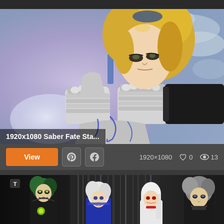[Figure (illustration): Anime illustration of Saber from Fate Stay Night — blonde female warrior in silver armor holding a large sword, purple/blue background with clouds]
1920x1080 Saber Fate Sta...
View  [Pinterest icon]  [Facebook icon]   1920×1080   ♡ 0   👁 13
[Figure (illustration): Anime illustration in black and white showing multiple characters including a green-haired figure in a dark coat, a white-haired female in blue outfit, and a grey-haired male character]